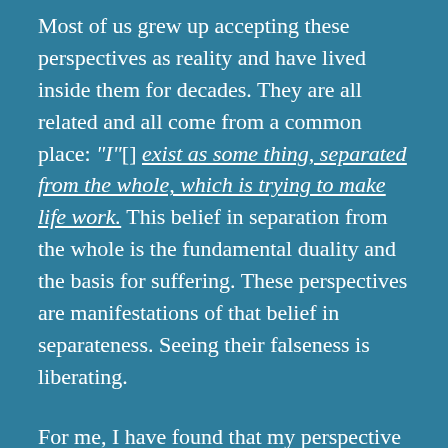Most of us grew up accepting these perspectives as reality and have lived inside them for decades. They are all related and all come from a common place: "I" exist as some thing, separated from the whole, which is trying to make life work. This belief in separation from the whole is the fundamental duality and the basis for suffering. These perspectives are manifestations of that belief in separateness. Seeing their falseness is liberating.
For me, I have found that my perspective has shifted over time, as a process rather than an event. First comes conceptual understanding, with perhaps a peak experience glimpse, and then gradually, a direct kind of insight, in which deep from the place of...